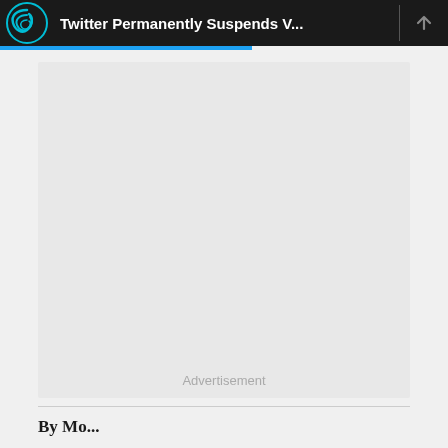Twitter Permanently Suspends V...
[Figure (other): Advertisement placeholder — large light gray rectangle with 'Advertisement' label centered at the bottom]
By Mo...